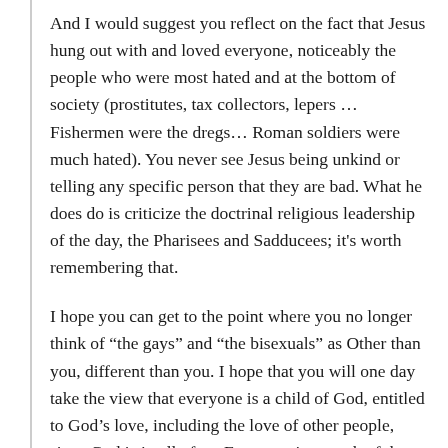And I would suggest you reflect on the fact that Jesus hung out with and loved everyone, noticeably the people who were most hated and at the bottom of society (prostitutes, tax collectors, lepers … Fishermen were the dregs… Roman soldiers were much hated). You never see Jesus being unkind or telling any specific person that they are bad. What he does do is criticize the doctrinal religious leadership of the day, the Pharisees and Sadducees; it's worth remembering that.
I hope you can get to the point where you no longer think of “the gays” and “the bisexuals” as Other than you, different than you. I hope that you will one day take the view that everyone is a child of God, entitled to God’s love, including the love of other people, since God is in all of us. Everyone is a spark of the Divine. This is a deeper, more challenging view of God and